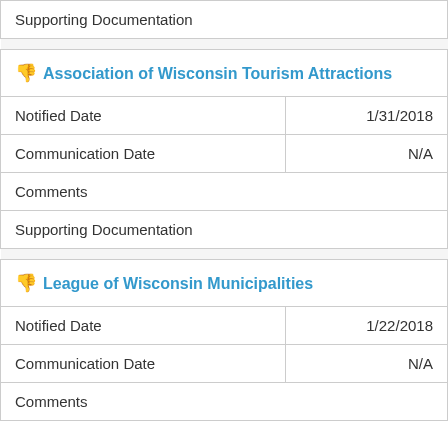| Supporting Documentation |  |
|  |  |
| 👎 Association of Wisconsin Tourism Attractions |  |
| Notified Date | 1/31/2018 |
| Communication Date | N/A |
| Comments |  |
| Supporting Documentation |  |
|  |  |
| 👎 League of Wisconsin Municipalities |  |
| Notified Date | 1/22/2018 |
| Communication Date | N/A |
| Comments |  |